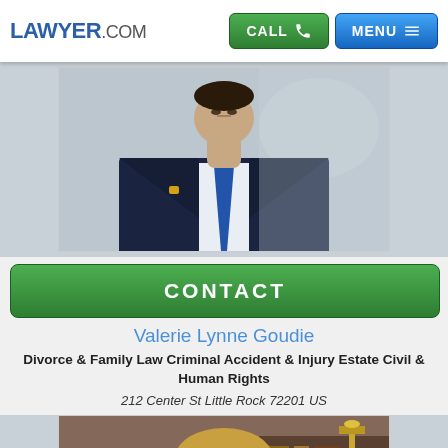LAWYER.COM
[Figure (photo): Professional headshot of a man in a dark navy suit with a blue tie, viewed from mid-chest up, facing slightly to the side.]
CONTACT
Valerie Lynne Goudie
Divorce & Family Law Criminal Accident & Injury Estate Civil & Human Rights
212 Center St Little Rock 72201 US
[Figure (photo): Professional portrait of a woman with blonde hair wearing a light beige blazer, sitting in an office setting with legal books and decorative items in the background, smiling at the camera.]